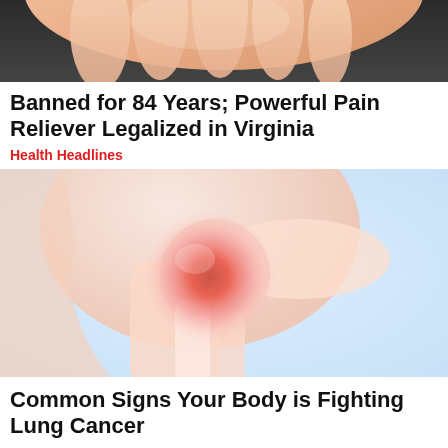[Figure (photo): Close-up of a hand/fingers, partially visible at top of page, cropped]
Banned for 84 Years; Powerful Pain Reliever Legalized in Virginia
Health Headlines
[Figure (illustration): Medical illustration of a human shoulder joint with a red glowing pain point highlighted in the center of the joint, shown on a light blue background]
Common Signs Your Body is Fighting Lung Cancer